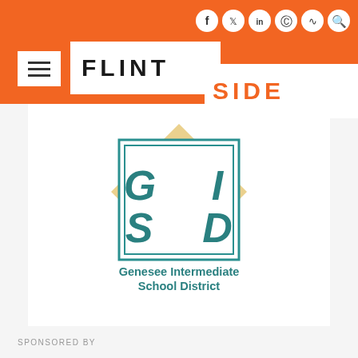FLINTSIDE
[Figure (logo): Genesee Intermediate School District (GISD) logo: a teal square with letters G, I, S, D in stylized font, overlaid on a tan/beige diamond shape]
Genesee Intermediate School District
SPONSORED BY